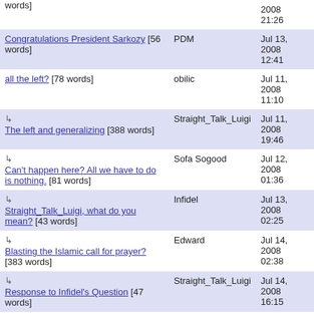| Title | Author | Date |
| --- | --- | --- |
| [words] |  | 2008 21:26 |
| Congratulations President Sarkozy [56 words] | PDM | Jul 13, 2008 12:41 |
| all the left? [78 words] | obilic | Jul 11, 2008 11:10 |
| ↳ The left and generalizing [388 words] | Straight_Talk_Luigi | Jul 11, 2008 19:46 |
| ↳ Can't happen here? All we have to do is nothing. [81 words] | Sofa Sogood | Jul 12, 2008 01:36 |
| ↳ Straight_Talk_Luigi, what do you mean? [43 words] | Infidel | Jul 13, 2008 02:25 |
| ↳ Blasting the Islamic call for prayer? [383 words] | Edward | Jul 14, 2008 02:38 |
| ↳ Response to Infidel's Question [47 words] | Straight_Talk_Luigi | Jul 14, 2008 16:15 |
| ↳ noise pollution [128 words] | dfwhite19438 | Jul 14, 2008 22:22 |